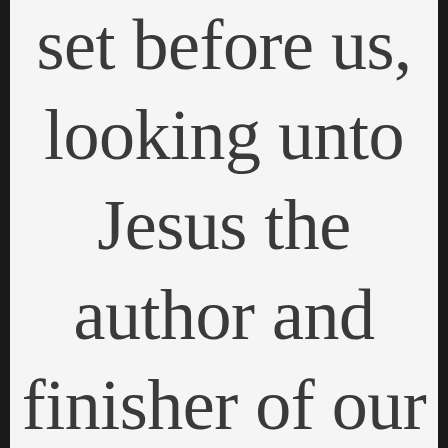set before us, looking unto Jesus the author and finisher of our faith